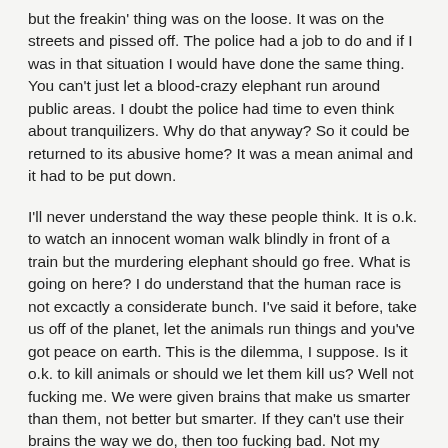but the freakin' thing was on the loose. It was on the streets and pissed off. The police had a job to do and if I was in that situation I would have done the same thing. You can't just let a blood-crazy elephant run around public areas. I doubt the police had time to even think about tranquilizers. Why do that anyway? So it could be returned to its abusive home? It was a mean animal and it had to be put down.
I'll never understand the way these people think. It is o.k. to watch an innocent woman walk blindly in front of a train but the murdering elephant should go free. What is going on here? I do understand that the human race is not excactly a considerate bunch. I've said it before, take us off of the planet, let the animals run things and you've got peace on earth. This is the dilemma, I suppose. Is it o.k. to kill animals or should we let them kill us? Well not fucking me. We were given brains that make us smarter than them, not better but smarter. If they can't use their brains the way we do, then too fucking bad. Not my problem. It's called survival of the fittest. Unless Stampy has got himself a library card I'm not concerned about the mess he made on the sidewalk. This